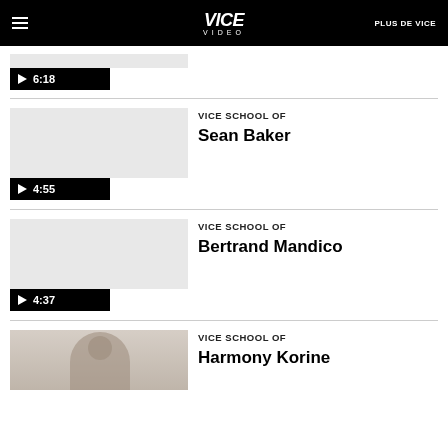VICE VIDEO | PLUS DE VICE
[Figure (screenshot): Video thumbnail with play button and duration 6:18]
[Figure (screenshot): Video thumbnail with play button and duration 4:55 for VICE SCHOOL OF Sean Baker]
VICE SCHOOL OF
Sean Baker
[Figure (screenshot): Video thumbnail with play button and duration 4:37 for VICE SCHOOL OF Bertrand Mandico]
VICE SCHOOL OF
Bertrand Mandico
[Figure (photo): Photo of person for VICE SCHOOL OF Harmony Korine]
VICE SCHOOL OF
Harmony Korine